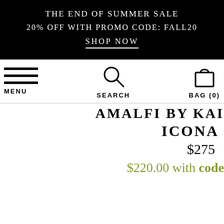THE END OF SUMMER SALE
20% OFF WITH PROMO CODE: FALL20
SHOP NOW
MENU   SEARCH   BAG (0)
AMALFI BY KAI
ICONA
$275
$220.00 with code